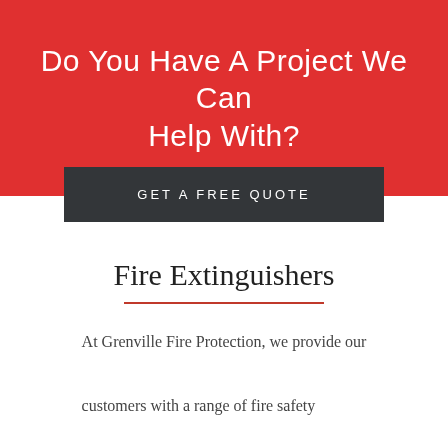Do You Have A Project We Can Help With?
GET A FREE QUOTE
Fire Extinguishers
At Grenville Fire Protection, we provide our customers with a range of fire safety equipment and services. Our wealth of